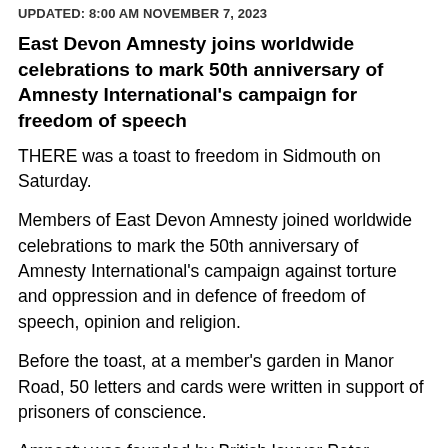UPDATED: 8:00 AM NOVEMBER 7, 2023
East Devon Amnesty joins worldwide celebrations to mark 50th anniversary of Amnesty International's campaign for freedom of speech
THERE was a toast to freedom in Sidmouth on Saturday.
Members of East Devon Amnesty joined worldwide celebrations to mark the 50th anniversary of Amnesty International's campaign against torture and oppression and in defence of freedom of speech, opinion and religion.
Before the toast, at a member's garden in Manor Road, 50 letters and cards were written in support of prisoners of conscience.
Amnesty was founded by British lawyer Peter